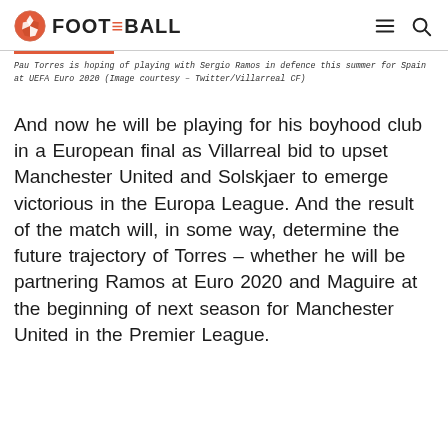FOOT THE BALL
Pau Torres is hoping of playing with Sergio Ramos in defence this summer for Spain at UEFA Euro 2020 (Image courtesy – Twitter/Villarreal CF)
And now he will be playing for his boyhood club in a European final as Villarreal bid to upset Manchester United and Solskjaer to emerge victorious in the Europa League. And the result of the match will, in some way, determine the future trajectory of Torres – whether he will be partnering Ramos at Euro 2020 and Maguire at the beginning of next season for Manchester United in the Premier League.